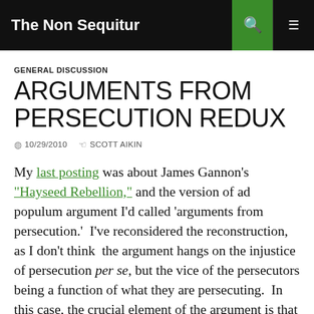The Non Sequitur
GENERAL DISCUSSION
ARGUMENTS FROM PERSECUTION REDUX
10/29/2010  SCOTT AIKIN
My last posting was about James Gannon's "Hayseed Rebellion," and the version of ad populum argument I'd called 'arguments from persecution.'  I've reconsidered the reconstruction, as I don't think  the argument hangs on the injustice of persecution per se, but the vice of the persecutors being a function of what they are persecuting.  In this case, the crucial element of the argument is that it is addressed to an audience of folks who feel as though they are under attack